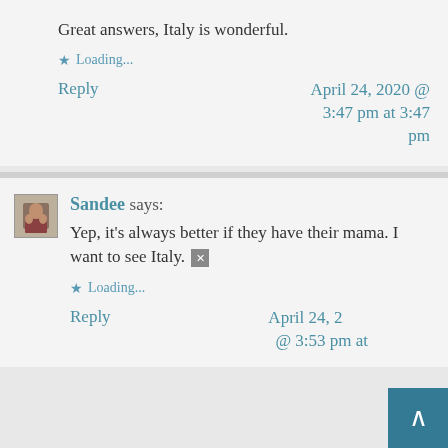Great answers, Italy is wonderful.
Loading...
Reply
April 24, 2020 @ 3:47 pm at 3:47 pm
Sandee says:
Yep, it’s always better if they have their mama. I want to see Italy.
Loading...
Reply
April 24, 2020 @ 3:53 pm at